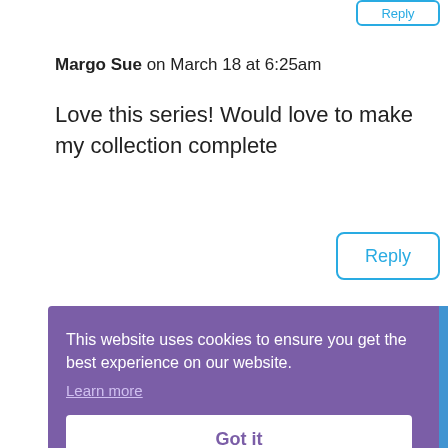Reply
Margo Sue on March 18 at 6:25am
Love this series! Would love to make my collection complete
Reply
This website uses cookies to ensure you get the best experience on our website.
Learn more
Got it